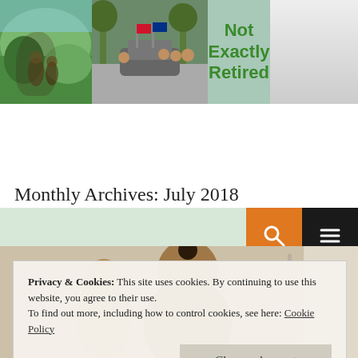[Figure (photo): Blog header banner with three photos (nature/people scene, outdoor festival with flags, people indoors) and the blog title 'Not Exactly Retired' in green bold text on a teal/green background]
[Figure (infographic): Navigation bar with orange search icon button and black hamburger menu button on the right side]
Monthly Archives: July 2018
[Figure (photo): Partial article photo showing two people from behind/side against a light background]
Privacy & Cookies: This site uses cookies. By continuing to use this website, you agree to their use.
To find out more, including how to control cookies, see here: Cookie Policy
Close and accept